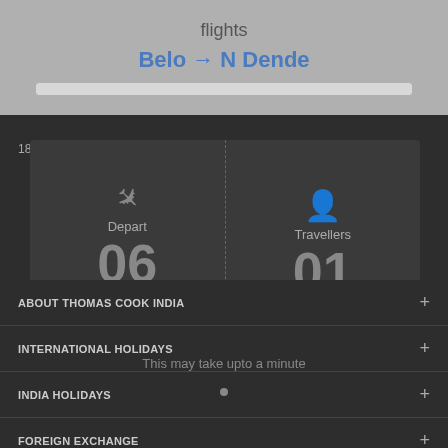flights
Belo → N Dende
1800-2099-100 (Toll Free No.)
Depart
Travellers
06
01
Sep, 2022
1 Adult
Tuesday
ABOUT THOMAS COOK INDIA
INTERNATIONAL HOLIDAYS
INDIA HOLIDAYS
FOREIGN EXCHANGE
VISA
This may take upto a minute
Copyright © 2021-22 Thomascook.in. All Rights Reserved.